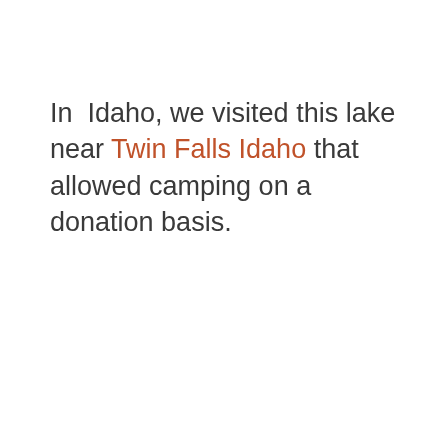In  Idaho, we visited this lake near Twin Falls Idaho that allowed camping on a donation basis.